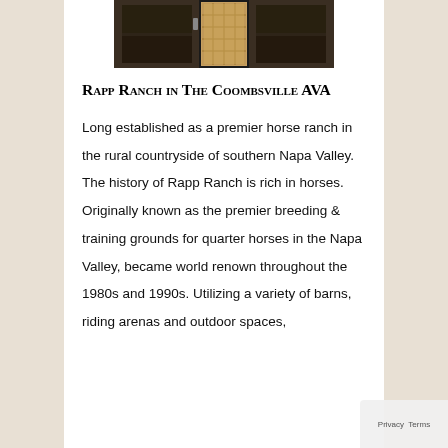[Figure (photo): Dark interior photo showing a stable door or barn gate with light coming through a mesh/window opening]
Rapp Ranch in The Coombsville AVA
Long established as a premier horse ranch in the rural countryside of southern Napa Valley. The history of Rapp Ranch is rich in horses. Originally known as the premier breeding & training grounds for quarter horses in the Napa Valley, became world renown throughout the 1980s and 1990s. Utilizing a variety of barns, riding arenas and outdoor spaces, Rapp Ranch...